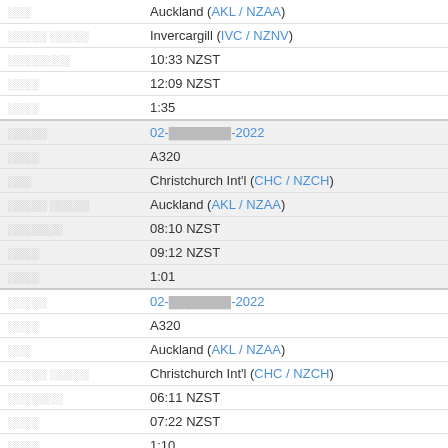| Label | Value |
| --- | --- |
|  | Auckland (AKL / NZAA) |
|  | Invercargill (IVC / NZNV) |
|  | 10:33 NZST |
|  | 12:09 NZST |
|  | 1:35 |
|  | 02-[redacted]-2022 |
|  | A320 |
|  | Christchurch Int'l (CHC / NZCH) |
|  | Auckland (AKL / NZAA) |
|  | 08:10 NZST |
|  | 09:12 NZST |
|  | 1:01 |
|  | 02-[redacted]-2022 |
|  | A320 |
|  | Auckland (AKL / NZAA) |
|  | Christchurch Int'l (CHC / NZCH) |
|  | 06:11 NZST |
|  | 07:22 NZST |
|  | 1:10 |
|  | 01-[redacted]-2022 |